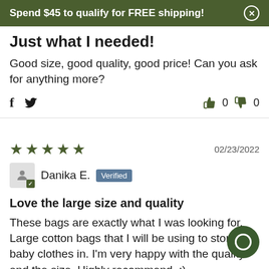Spend $45 to qualify for FREE shipping!
Just what I needed!
Good size, good quality, good price! Can you ask for anything more?
f  🐦   👍 0  👎 0
★★★★★   02/23/2022
Danika E. Verified
Love the large size and quality
These bags are exactly what I was looking for. Large cotton bags that I will be using to store baby clothes in. I'm very happy with the quality and the size. Highly recommend. :)